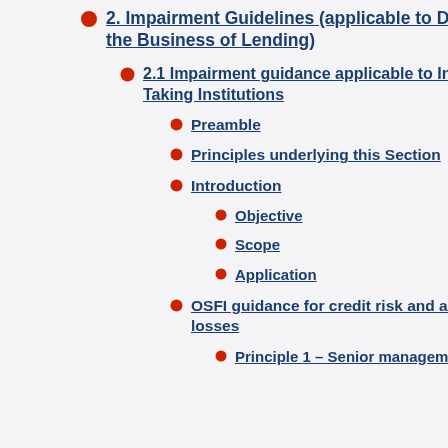2. Impairment Guidelines (applicable to Deposit-Taking Institutions in the Business of Lending)
2.1 Impairment guidance applicable to Internal Ratings Based Deposit-Taking Institutions
Preamble
Principles underlying this Section
Introduction
Objective
Scope
Application
OSFI guidance for credit risk and accounting for expected credit losses
Principle 1 – Senior management